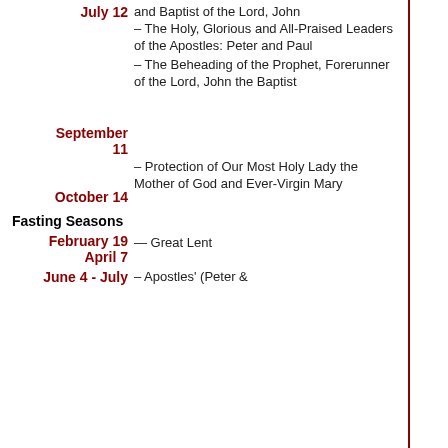July 12 – The Holy, Glorious and All-Praised Leaders of the Apostles: Peter and Paul
September 11 – The Beheading of the Prophet, Forerunner of the Lord, John the Baptist
October 14 – Protection of Our Most Holy Lady the Mother of God and Ever-Virgin Mary
Fasting Seasons
February 19 – April 7 — Great Lent
June 4 - July [11] – Apostles' (Peter & [Paul) Fast]